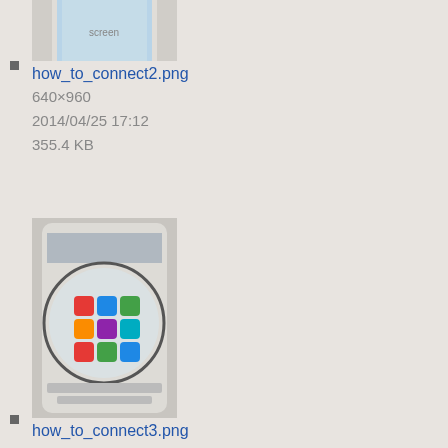[Figure (screenshot): Thumbnail of how_to_connect2.png showing a smartphone screen]
how_to_connect2.png
640×960
2014/04/25 17:12
355.4 KB
[Figure (screenshot): Thumbnail of how_to_connect3.png showing a smartphone with app icons]
how_to_connect3.png
640×960
2014/04/25 16:31
509.8 KB
[Figure (photo): Thumbnail of img_0517.jpg showing a physical object photo]
img_0517.jpg
1200×1600